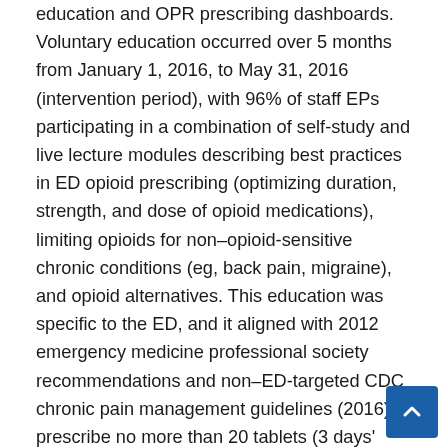education and OPR prescribing dashboards. Voluntary education occurred over 5 months from January 1, 2016, to May 31, 2016 (intervention period), with 96% of staff EPs participating in a combination of self-study and live lecture modules describing best practices in ED opioid prescribing (optimizing duration, strength, and dose of opioid medications), limiting opioids for non–opioid-sensitive chronic conditions (eg, back pain, migraine), and opioid alternatives. This education was specific to the ED, and it aligned with 2012 emergency medicine professional society recommendations and non–ED-targeted CDC chronic pain management guidelines (2016) to prescribe no more than 20 tablets (3 days' supply) for acute pain in 2019. Prior to the study...